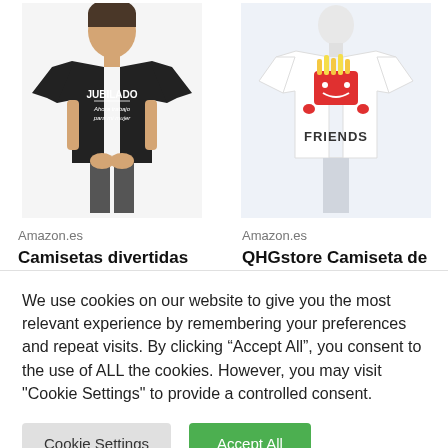[Figure (photo): Man wearing a black t-shirt with 'JUBILADO Ahora trabajo para mi mujer' printed on it]
[Figure (photo): Mannequin wearing a white t-shirt with a cartoon french fries character and 'FRIENDS' text]
Amazon.es
Camisetas divertidas
Child Jubilado Ahora
Amazon.es
QHGstore Camiseta de
impresión divertida
We use cookies on our website to give you the most relevant experience by remembering your preferences and repeat visits. By clicking “Accept All”, you consent to the use of ALL the cookies. However, you may visit "Cookie Settings" to provide a controlled consent.
Cookie Settings
Accept All